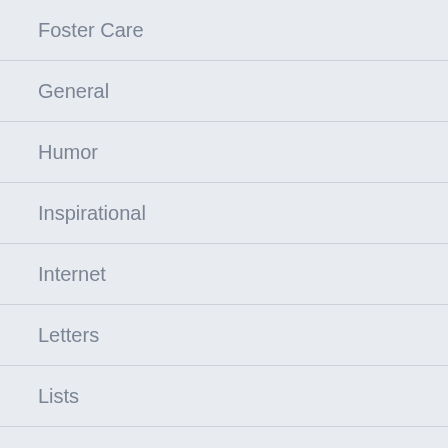Foster Care
General
Humor
Inspirational
Internet
Letters
Lists
Marriage
My Life